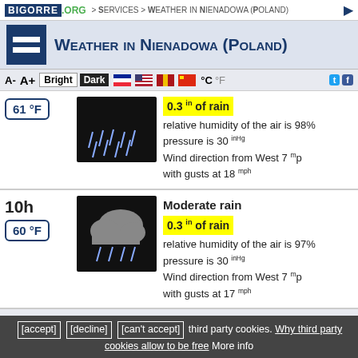BIGORRE .ORG > Services > Weather in Nienadowa (Poland)
Weather in Nienadowa (Poland)
A-  A+  Bright  Dark  °C  °F
61 °F
0.3 in of rain
relative humidity of the air is 98%
pressure is 30 inHg
Wind direction from West 7 mph with gusts at 18 mph
10h
60 °F
Moderate rain
0.3 in of rain
relative humidity of the air is 97%
pressure is 30 inHg
Wind direction from West 7 mph with gusts at 17 mph
[accept] [decline] [can't accept] third party cookies. Why third party cookies allow to be free More info